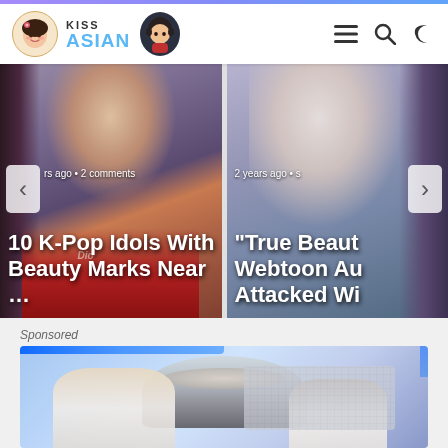KissAsian — navigation header with logo, menu, search, and dark mode icons
[Figure (screenshot): Carousel slide showing K-Pop idol with overlay text: 'rs ago • 2 comments' and title '10 K-Pop Idols With Beauty Marks Near …']
[Figure (screenshot): Carousel slide showing woman with overlay text: '2 years ago • s' and title '"True Beauty Webtoon Au Attacked Wi']
Sponsored
[Figure (photo): Sponsored image showing two people in a high-tech room with blue LED lighting and a large cylindrical machine]